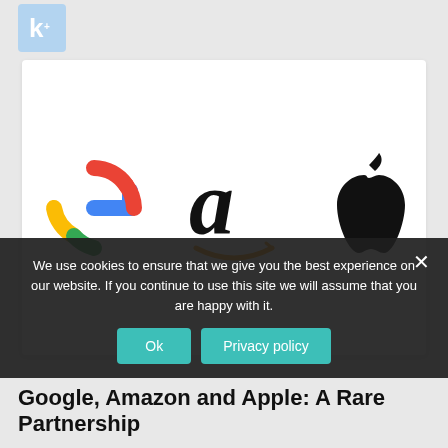[Figure (logo): Kalkine Media logo - letter K in light blue rounded square]
[Figure (logo): Three company logos side by side: Google (colorful G), Amazon (black 'a' with orange smile arrow), Apple (black apple silhouette with leaf)]
We use cookies to ensure that we give you the best experience on our website. If you continue to use this site we will assume that you are happy with it.
Google, Amazon and Apple: A Rare Partnership